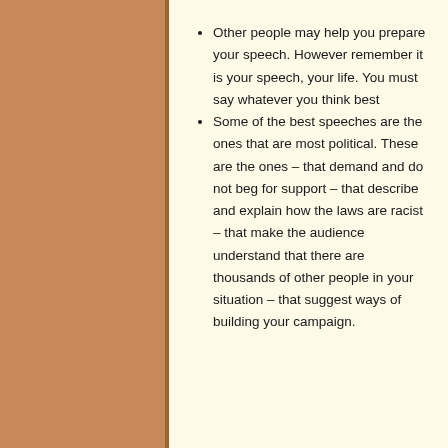Other people may help you prepare your speech. However remember it is your speech, your life. You must say whatever you think best
Some of the best speeches are the ones that are most political. These are the ones – that demand and do not beg for support – that describe and explain how the laws are racist – that make the audience understand that there are thousands of other people in your situation – that suggest ways of building your campaign.